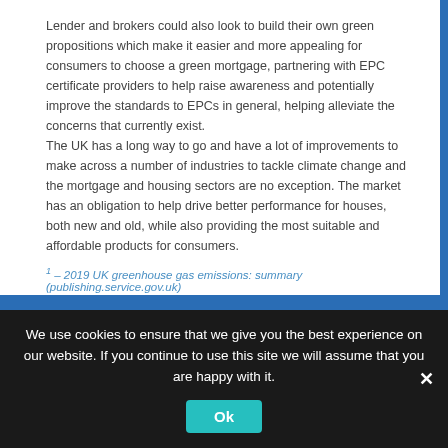Lender and brokers could also look to build their own green propositions which make it easier and more appealing for consumers to choose a green mortgage, partnering with EPC certificate providers to help raise awareness and potentially improve the standards to EPCs in general, helping alleviate the concerns that currently exist.
The UK has a long way to go and have a lot of improvements to make across a number of industries to tackle climate change and the mortgage and housing sectors are no exception. The market has an obligation to help drive better performance for houses, both new and old, while also providing the most suitable and affordable products for consumers.
1 – 2019 UK greenhouse gas emissions: summary (publishing.service.gov.uk)
We use cookies to ensure that we give you the best experience on our website. If you continue to use this site we will assume that you are happy with it.